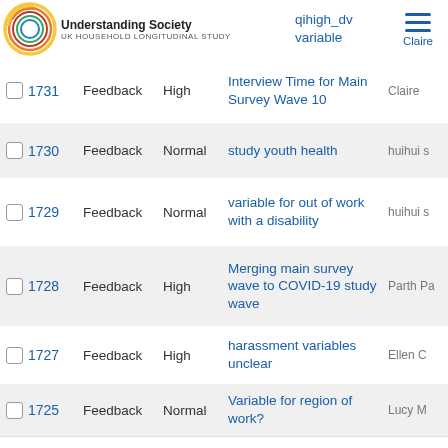|  | # | Type | Priority | Subject | Author |
| --- | --- | --- | --- | --- | --- |
|  |  |  |  | qihigh_dv variable |  |
|  | 1731 | Feedback | High | Interview Time for Main Survey Wave 10 | Claire |
|  | 1730 | Feedback | Normal | study youth health | huihui s |
|  | 1729 | Feedback | Normal | variable for out of work with a disability | huihui s |
|  | 1728 | Feedback | High | Merging main survey wave to COVID-19 study wave | Parth Pa |
|  | 1727 | Feedback | High | harassment variables unclear | Ellen C |
|  | 1725 | Feedback | Normal | Variable for region of work? | Lucy M |
|  | 1723 | Feedback | Normal | 'Other qualifications' category in hiqual_dv | Albert W |
|  | 1722 | Feedback | Normal | Quick weight to use check for 7 variables | William Shu |